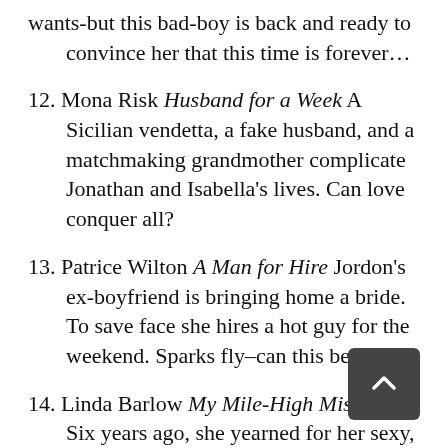wants-but this bad-boy is back and ready to convince her that this time is forever...
12. Mona Risk Husband for a Week A Sicilian vendetta, a fake husband, and a matchmaking grandmother complicate Jonathan and Isabella’s lives. Can love conquer all?
13. Patrice Wilton A Man for Hire Jordon’s ex-boyfriend is bringing home a bride. To save face she hires a hot guy for the weekend. Sparks fly–can this be love?
14. Linda Barlow My Mile-High Mistake Six years ago, she yearned for her sexy, forbidden high school teacher. Now she can’t resist his temptation at 35,000 feet.